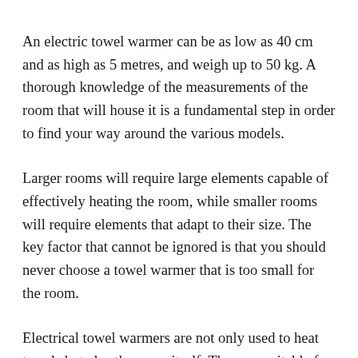An electric towel warmer can be as low as 40 cm and as high as 5 metres, and weigh up to 50 kg. A thorough knowledge of the measurements of the room that will house it is a fundamental step in order to find your way around the various models.
Larger rooms will require large elements capable of effectively heating the room, while smaller rooms will require elements that adapt to their size. The key factor that cannot be ignored is that you should never choose a towel warmer that is too small for the room.
Electrical towel warmers are not only used to heat towels but also the room itself. They are suitable for any space,